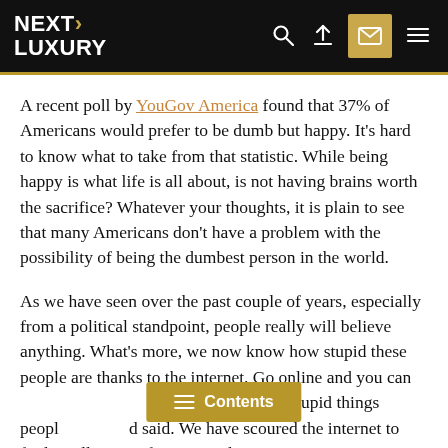NEXT LUXURY
A recent poll by YouGov America found that 37% of Americans would prefer to be dumb but happy. It's hard to know what to take from that statistic. While being happy is what life is all about, is not having brains worth the sacrifice? Whatever your thoughts, it is plain to see that many Americans don't have a problem with the possibility of being the dumbest person in the world.
As we have seen over the past couple of years, especially from a political standpoint, people really will believe anything. What's more, we now know how stupid these people are thanks to the internet. Go online and you can [Contents] f stories about the stupid things peopl[e] [hav]d said. We have scoured the internet to find a collection of stories and